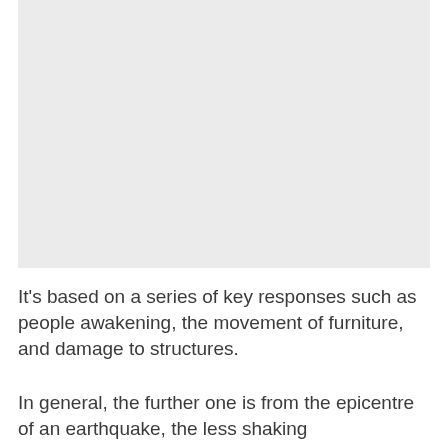[Figure (other): A blank light gray rectangular image placeholder occupying the top portion of the page.]
It's based on a series of key responses such as people awakening, the movement of furniture, and damage to structures.
In general, the further one is from the epicentre of an earthquake, the less shaking